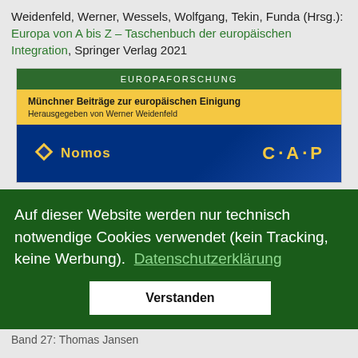Weidenfeld, Werner, Wessels, Wolfgang, Tekin, Funda (Hrsg.): Europa von A bis Z – Taschenbuch der europäischen Integration, Springer Verlag 2021
[Figure (illustration): Book series card: green header 'EUROPAFORSCHUNG', yellow section with bold title 'Münchner Beiträge zur europäischen Einigung' and subtitle 'Herausgegeben von Werner Weidenfeld', dark blue footer with Nomos logo and C·A·P logo in gold.]
Auf dieser Website werden nur technisch notwendige Cookies verwendet (kein Tracking, keine Werbung).  Datenschutzerklärung
Verstanden
Band 27: Thomas Jansen